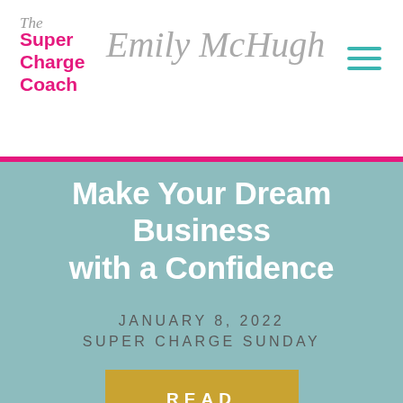The Super Charge Coach Emily McHugh
Make Your Dream Business with a Confidence
JANUARY 8, 2022
SUPER CHARGE SUNDAY
READ